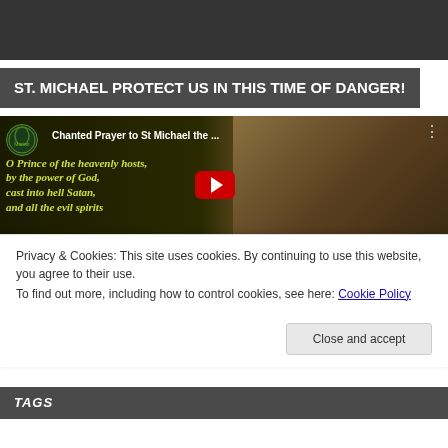[Figure (screenshot): Dark gray banner at the top of the webpage]
ST. MICHAEL PROTECT US IN THIS TIME OF DANGER!
[Figure (screenshot): YouTube video embed showing 'Chanted Prayer to St Michael the ...' with text overlay reading 'O Prince of the heavenly hosts, by the power of God, cast into hell Satan, and all the evil spirits' in yellow-green italic font on dark background, with an angel warrior image on the right and a YouTube play button]
Privacy & Cookies: This site uses cookies. By continuing to use this website, you agree to their use.
To find out more, including how to control cookies, see here: Cookie Policy
Close and accept
TAGS